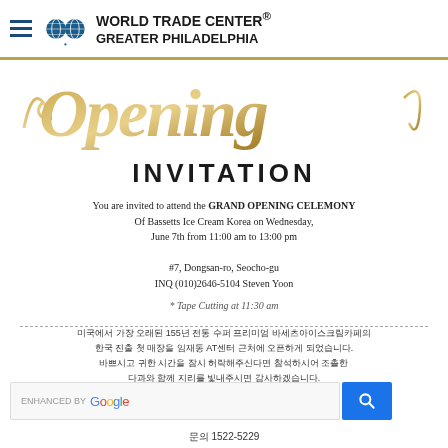WORLD TRADE CENTER® GREATER PHILADELPHIA
[Figure (illustration): Grand Opening script text in gold cursive lettering]
INVITATION
You are invited to attend the GRAND OPENING CELEMONY Of Bassetts Ice Cream Korea on Wednesday, June 7th from 11:00 am to 13:00 pm
#7, Dongsan-ro, Seocho-gu
INQ (010)2646-5104 Steven Yoon
* Tape Cutting at 11:30 am
미국에서 가장 오래된 155년 전통 수퍼 프리미엄 바세츠아이스크림카페의 한국 진출 첫 매장을 임재동 AT센터 근처에 오픈하게 되었습니다. 바쁘시고 귀한 시간을 잠시 허락해주신다면 참석하시어 조촐한 다과와 함께 지리를 빛내주시면 감사하겠습니다.
일시 : 2017년 6월 7일 오전11시
문의 1522-5229